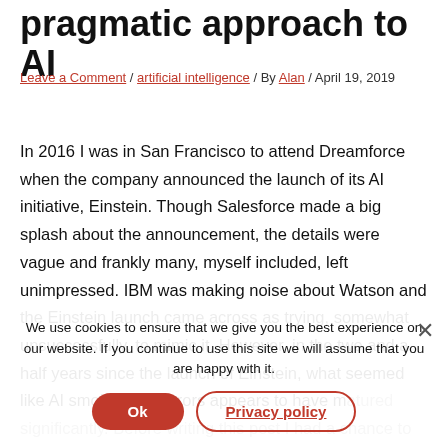pragmatic approach to AI
Leave a Comment / artificial intelligence / By Alan / April 19, 2019
In 2016 I was in San Francisco to attend Dreamforce when the company announced the launch of its AI initiative, Einstein. Though Salesforce made a big splash about the announcement, the details were vague and frankly many, myself included, left unimpressed. IBM was making noise about Watson and the Einstein launch came across as trying, somewhat unsuccessfully, to mimic it. However, in the two and a half years since the launch of Einstein, what seemed like AI smoke and mirrors appears to have m... b... had a chance to take a deeper look into where Einstein is today.
We use cookies to ensure that we give you the best experience on our website. If you continue to use this site we will assume that you are happy with it.